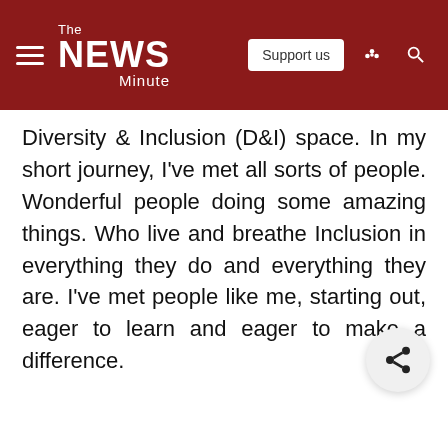The News Minute — Support us
Diversity & Inclusion (D&I) space. In my short journey, I've met all sorts of people. Wonderful people doing some amazing things. Who live and breathe Inclusion in everything they do and everything they are. I've met people like me, starting out, eager to learn and eager to make a difference.
[Figure (other): Share icon button (circular grey button with share/network icon)]